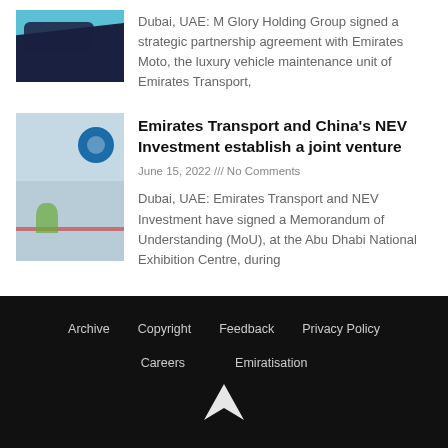[Figure (photo): Car or vehicle image with dark background on a teal/blue background]
Dubai, UAE: M Glory Holding Group signed a strategic partnership agreement with Emirates Moto, the luxury vehicle maintenance unit of Emirates Transport,
[Figure (photo): Two people signing an agreement at a table with flowers, blue branded backdrop with circular logo]
Emirates Transport and China's NEV Investment establish a joint venture
June 15, 2022 /// No Comments
Dubai, UAE: Emirates Transport and NEV Investment have signed a Memorandum of Understanding (MoU), at the Abu Dhabi National Exhibition Centre, during
Archive   Copyright   Feedback   Privacy Policy   Careers   Emiratisation